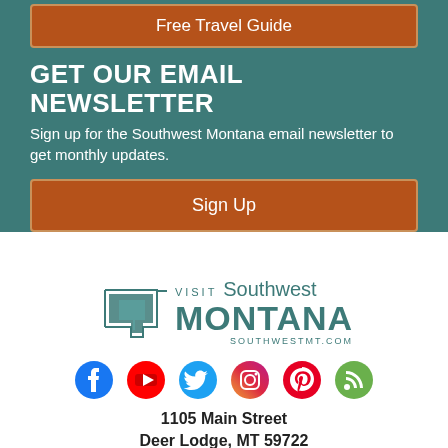Free Travel Guide
GET OUR EMAIL NEWSLETTER
Sign up for the Southwest Montana email newsletter to get monthly updates.
Sign Up
[Figure (logo): Visit Southwest Montana logo with Montana state outline and SOUTHWESTMT.COM URL]
[Figure (infographic): Social media icons: Facebook, YouTube, Twitter, Instagram, Pinterest, Blog]
1105 Main Street
Deer Lodge, MT 59722